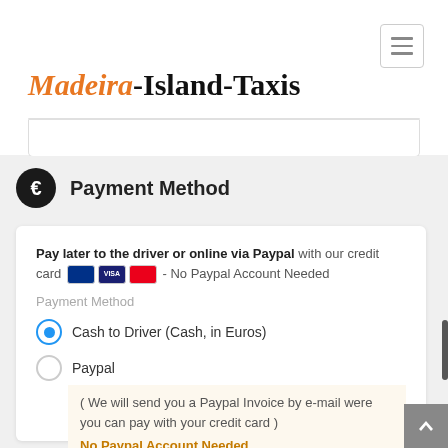Madeira-Island-Taxis
Payment Method
Pay later to the driver or online via Paypal with our credit card - No Paypal Account Needed
Payment Method
Cash to Driver (Cash, in Euros)
Paypal
( We will send you a Paypal Invoice by e-mail were you can pay with your credit card ) No Paypal Account Needed